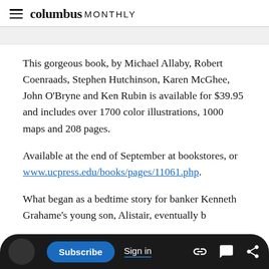columbus MONTHLY
This gorgeous book, by Michael Allaby, Robert Coenraads, Stephen Hutchinson, Karen McGhee, John O'Bryne and Ken Rubin is available for $39.95 and includes over 1700 color illustrations, 1000 maps and 208 pages.
Available at the end of September at bookstores, or www.ucpress.edu/books/pages/11061.php.
What began as a bedtime story for banker Kenneth Grahame's young son, Alistair, eventually b...